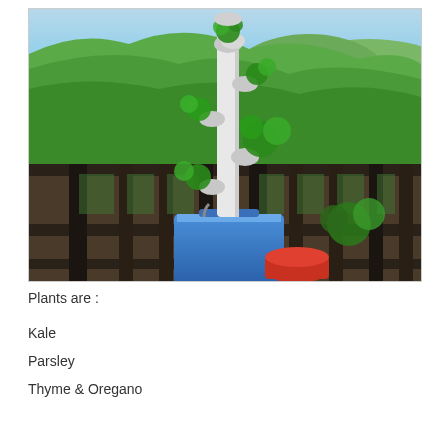[Figure (photo): A vertical tower garden (white PVC pipe system with plants growing from ports) standing on a blue cooler/reservoir on a wooden deck railing. A red bucket is visible at the base. The background shows a lush green hillside with ocean and sky visible in the distance.]
Plants are :
Kale
Parsley
Thyme & Oregano